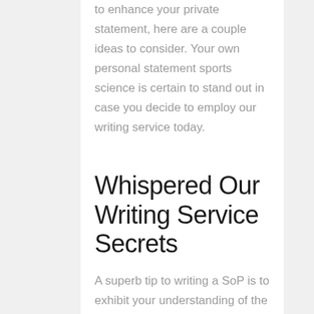to enhance your private statement, here are a couple ideas to consider. Your own personal statement sports science is certain to stand out in case you decide to employ our writing service today.
Whispered Our Writing Service Secrets
A superb tip to writing a SoP is to exhibit your understanding of the program that is being supplied. Be very attentive when providing your